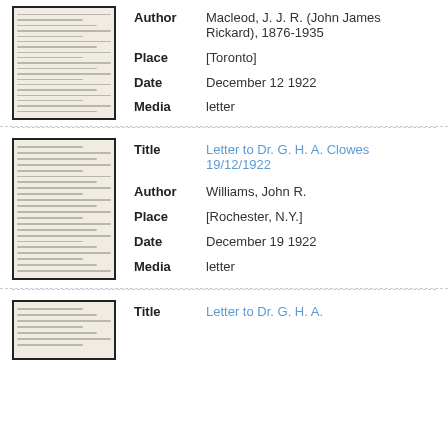[Figure (photo): Thumbnail image of a typewritten letter document, first record]
Author: Macleod, J. J. R. (John James Rickard), 1876-1935
Place: [Toronto]
Date: December 12 1922
Media: letter
[Figure (photo): Thumbnail image of a typewritten letter document, second record]
Title: Letter to Dr. G. H. A. Clowes 19/12/1922
Author: Williams, John R.
Place: [Rochester, N.Y.]
Date: December 19 1922
Media: letter
[Figure (photo): Thumbnail image of a typewritten letter document, third record]
Title: Letter to Dr. G. H. A.